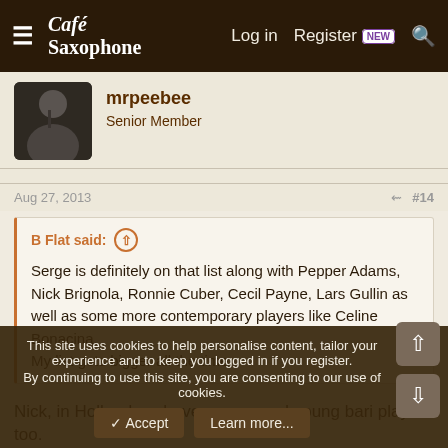Café Saxophone — Log in  Register  NEW
mrpeebee
Senior Member
Aug 27, 2013   #14
B Flat said: ↑
Serge is definitely on that list along with Pepper Adams, Nick Brignola, Ronnie Cuber, Cecil Payne, Lars Gullin as well as some more contemporary players like Celine Bonacina.
My list gets bigger all the time.
Nick, in Holland we have some good young bari players too.
Check Rik van den Bergh (a Pepper Adams adict) and Jan...
This site uses cookies to help personalise content, tailor your experience and to keep you logged in if you register.
By continuing to use this site, you are consenting to our use of cookies.